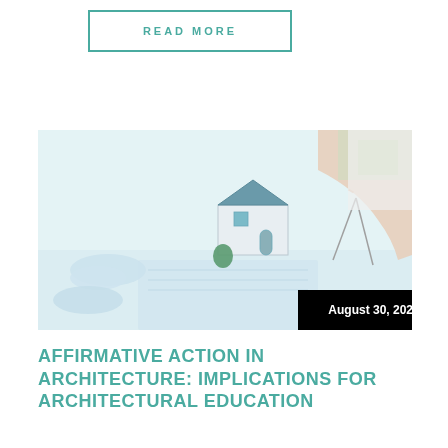READ MORE
[Figure (photo): Architect working at a desk with blueprints, a compass tool, and a small model house. Date badge reads August 30, 2022.]
AFFIRMATIVE ACTION IN ARCHITECTURE: IMPLICATIONS FOR ARCHITECTURAL EDUCATION